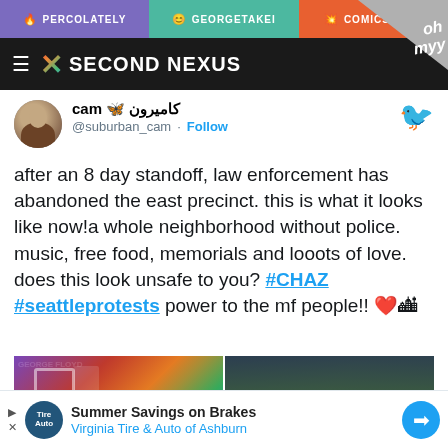PERCOLATELY | GEORGETAKEI | COMICSANDS
SECOND NEXUS
cam 🦋 کامیرون
@suburban_cam · Follow
after an 8 day standoff, law enforcement has abandoned the east precinct. this is what it looks like now!a whole neighborhood without police. music, free food, memorials and looots of love. does this look unsafe to you? #CHAZ #seattleprotests power to the mf people!! ❤️🏙
[Figure (photo): Two photos side by side showing CHAZ/Capitol Hill Autonomous Zone area with murals and street scenes]
Summer Savings on Brakes
Virginia Tire & Auto of Ashburn